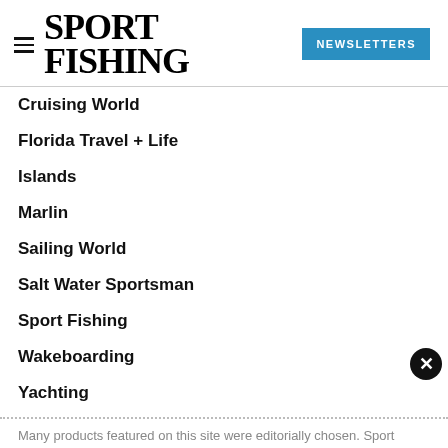SPORT FISHING | NEWSLETTERS
Cruising World
Florida Travel + Life
Islands
Marlin
Sailing World
Salt Water Sportsman
Sport Fishing
Wakeboarding
Yachting
Many products featured on this site were editorially chosen. Sport Fishing Magazine may receive financial compensation for products purchased through this site.